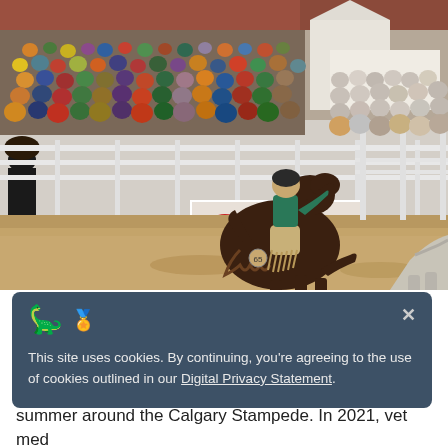[Figure (photo): A rodeo scene at the Calgary Stampede showing a cowboy riding a bucking bronco horse. Crowds of spectators fill the stands in the background. A Budweiser advertising banner is visible on the fence. White metal fencing surrounds the arena. Another horse is partially visible on the right side.]
This site uses cookies. By continuing, you're agreeing to the use of cookies outlined in our Digital Privacy Statement.
summer around the Calgary Stampede. In 2021, vet med